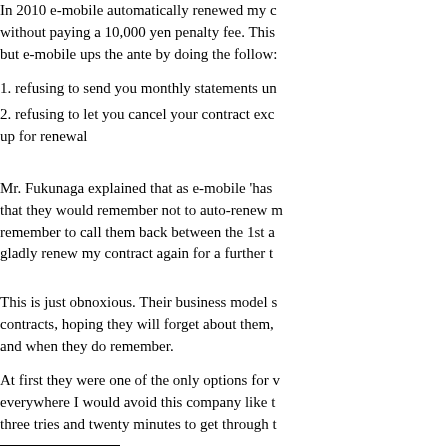In 2010 e-mobile automatically renewed my contract without paying a 10,000 yen penalty fee. This but e-mobile ups the ante by doing the follow:
1. refusing to send you monthly statements un
2. refusing to let you cancel your contract exc up for renewal
Mr. Fukunaga explained that as e-mobile 'has that they would remember not to auto-renew m remember to call them back between the 1st a gladly renew my contract again for a further t
This is just obnoxious. Their business model s contracts, hoping they will forget about them, and when they do remember.
At first they were one of the only options for v everywhere I would avoid this company like t three tries and twenty minutes to get through t
Anyone have anything good to say about e-m